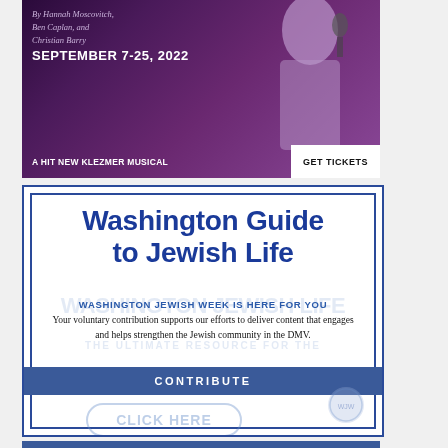[Figure (photo): Theater advertisement for a Klezmer musical. Dark purple/violet background with a performer holding a microphone with curly red hair. Text reads: By Hannah Moscovitch, Ben Caplan, and Christian Barry. September 7-25, 2022. A Hit New Klezmer Musical. GET TICKETS button.]
Washington Guide to Jewish Life
WASHINGTON JEWISH WEEK IS HERE FOR YOU
Your voluntary contribution supports our efforts to deliver content that engages and helps strengthen the Jewish community in the DMV.
CONTRIBUTE
CLICK HERE